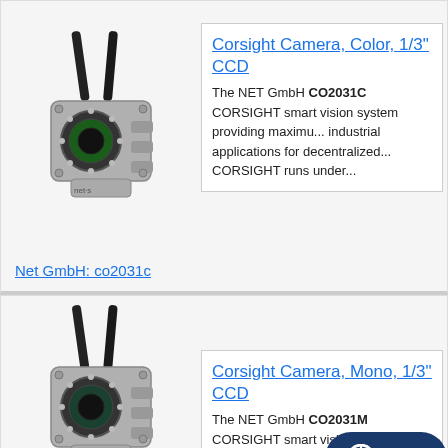[Figure (photo): NET GmbH CO2031C Corsight camera with two black antennas and circular lens, gray industrial housing]
Corsight Camera, Color, 1/3" CCD
The NET GmbH CO2031C CORSIGHT smart vision system providing maximum industrial applications for decentralized... CORSIGHT runs under...
Net GmbH: co2031c
[Figure (photo): NET GmbH CO2031M Corsight camera with two black antennas and circular lens, gray industrial housing]
Corsight Camera, Mono, 1/3" CCD
The NET GmbH CO2031M CORSIGHT smart vision system providing maximum industrial applications for decentralized... CORSIGHT runs under...